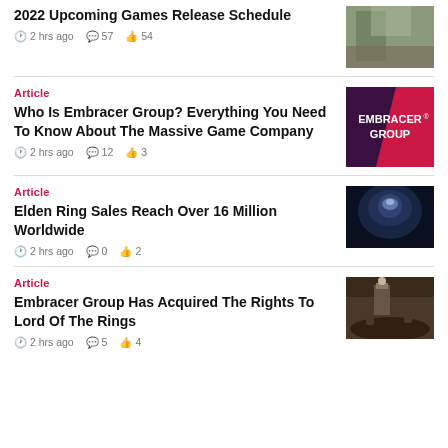2022 Upcoming Games Release Schedule
2 hrs ago  57  54
Article
Who Is Embracer Group? Everything You Need To Know About The Massive Game Company
2 hrs ago  12  3
Article
Elden Ring Sales Reach Over 16 Million Worldwide
2 hrs ago  0  2
Article
Embracer Group Has Acquired The Rights To Lord Of The Rings
2 hrs ago  5  4